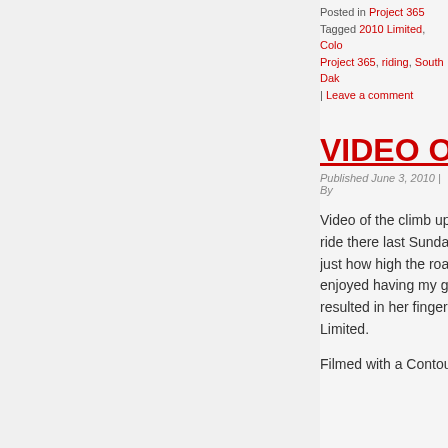Posted in Project 365
Tagged 2010 Limited, Color..., Project 365, riding, South Dak... | Leave a comment
VIDEO OF G...
Published June 3, 2010 | By ...
Video of the climb up G... ride there last Sunday. just how high the road w... enjoyed having my gi... resulted in her fingerna... Limited.
Filmed with a ContourH...